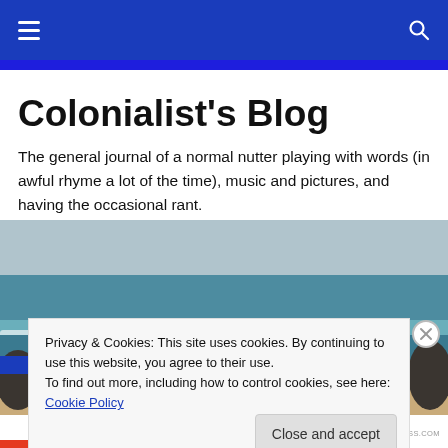Colonialist's Blog — navigation bar
Colonialist's Blog
The general journal of a normal nutter playing with words (in awful rhyme a lot of the time), music and pictures, and having the occasional rant.
[Figure (photo): Coastal seascape photograph showing ocean waves, white surf, rocky shore, sandy beach, and overcast sky]
Privacy & Cookies: This site uses cookies. By continuing to use this website, you agree to their use.
To find out more, including how to control cookies, see here: Cookie Policy
Close and accept